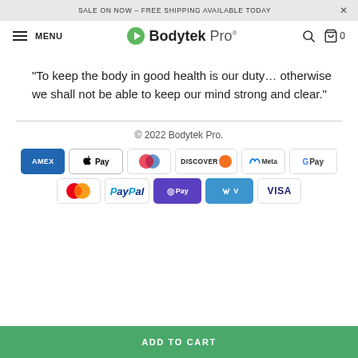SALE ON NOW – FREE SHIPPING AVAILABLE TODAY  ×
MENU  Bodytek Pro®  🔍  🛒 0
"To keep the body in good health is our duty… otherwise we shall not be able to keep our mind strong and clear."
© 2022 Bodytek Pro.
[Figure (logo): Payment method icons: AMEX, Apple Pay, Diners Club, Discover, Meta, Google Pay, Mastercard, PayPal, OPay, Venmo, VISA]
ADD TO CART